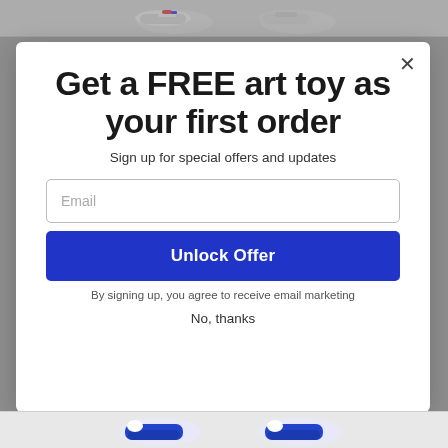[Figure (screenshot): Top strip with product sneaker images partially visible]
Get a FREE art toy as your first order
Sign up for special offers and updates
Email
Unlock Offer
By signing up, you agree to receive email marketing
No, thanks
[Figure (screenshot): Bottom strip with product sneaker images partially visible]